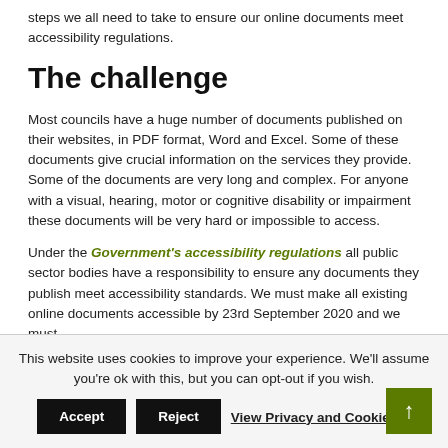steps we all need to take to ensure our online documents meet accessibility regulations.
The challenge
Most councils have a huge number of documents published on their websites, in PDF format, Word and Excel. Some of these documents give crucial information on the services they provide. Some of the documents are very long and complex. For anyone with a visual, hearing, motor or cognitive disability or impairment these documents will be very hard or impossible to access.
Under the Government's accessibility regulations all public sector bodies have a responsibility to ensure any documents they publish meet accessibility standards. We must make all existing online documents accessible by 23rd September 2020 and we must
This website uses cookies to improve your experience. We'll assume you're ok with this, but you can opt-out if you wish.
Accept  Reject  View Privacy and Cookie P...